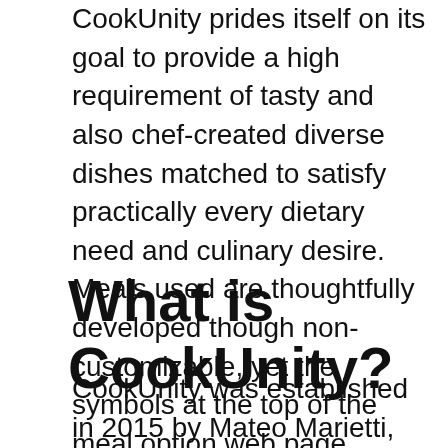CookUnity prides itself on its goal to provide a high requirement of tasty and also chef-created diverse dishes matched to satisfy practically every dietary need and culinary desire. Meals used are thoughtfully developed though non-customizable, yet the symbols at the top of the meal option web page assistance you satisfy your personalized demands to determine if you want low salt, vegan, keto, paleo, and also gluten-free, among others choices. We set out to figure out if this intriguing dish service can supply on its guarantee.
What is CookUnity?
CookUnity was established in 2015 by Mateo Marietti, that thought of the idea after